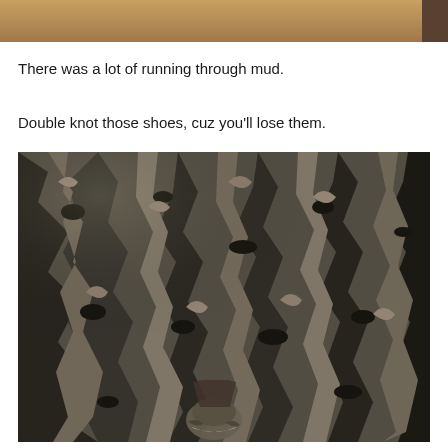[Figure (photo): Top portion of a photo showing muddy ground with orange/brown dirt, partially cropped at the top of the page]
There was a lot of running through mud.
Double knot those shoes, cuz you'll lose them.
[Figure (photo): Close-up photo of churned, heavily textured mud with deep tire tracks and footprints. A shoe/foot is visible near the bottom center of the image, partially submerged in the mud.]